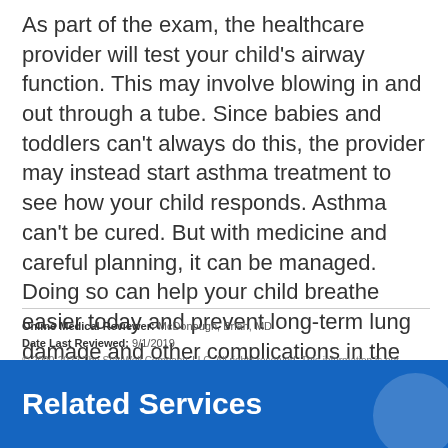As part of the exam, the healthcare provider will test your child's airway function. This may involve blowing in and out through a tube. Since babies and toddlers can't always do this, the provider may instead start asthma treatment to see how your child responds. Asthma can't be cured. But with medicine and careful planning, it can be managed. Doing so can help your child breathe easier today and prevent long-term lung damage and other complications in the future.
Online Medical Reviewer: McDonough, Brian, MD
Date Last Reviewed: 9/1/2019
© 2000-2022 The StayWell Company, LLC. All rights reserved. This information is not intended as a substitute for professional medical care. Always follow your healthcare professional's instructions.
Related Services